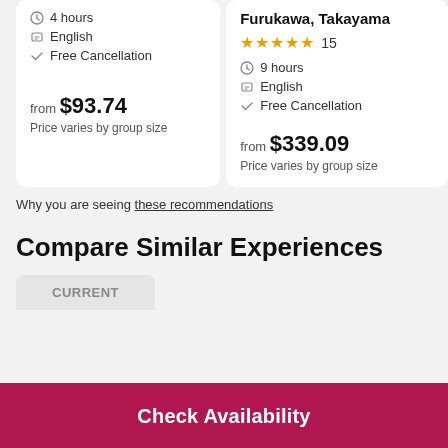4 hours
English
Free Cancellation
from $93.74
Price varies by group size
Furukawa, Takayama
★★★★★ 15
9 hours
English
Free Cancellation
from $339.09
Price varies by group size
Why you are seeing these recommendations
Compare Similar Experiences
CURRENT
Check Availability